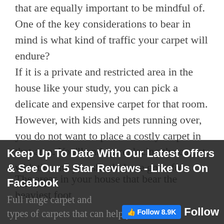that are equally important to be mindful of. One of the key considerations to bear in mind is what kind of traffic your carpet will endure?
If it is a private and restricted area in the house like your study, you can pick a delicate and expensive carpet for that room. However, with kids and pets running over, you do not want to place a costly carpet in that area. You'll end up replacing the carpet with the one you should have gone for earlier!
The areas in your house that bear the heaviest foot traffic should be covered with the most durable types of carpets that can help you handle high foot traffic.
Keep Up To Date With Our Latest Offers & See Our 5 Star Reviews - Like Us On Facebook